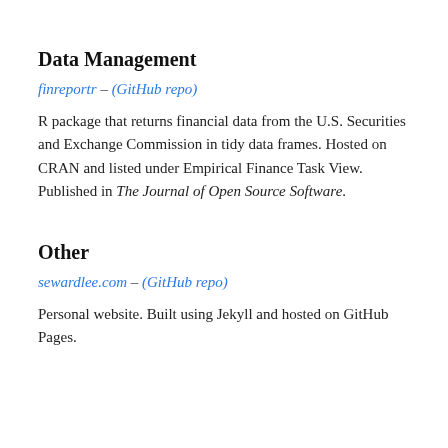Data Management
finreportr – (GitHub repo)
R package that returns financial data from the U.S. Securities and Exchange Commission in tidy data frames. Hosted on CRAN and listed under Empirical Finance Task View. Published in The Journal of Open Source Software.
Other
sewardlee.com – (GitHub repo)
Personal website. Built using Jekyll and hosted on GitHub Pages.